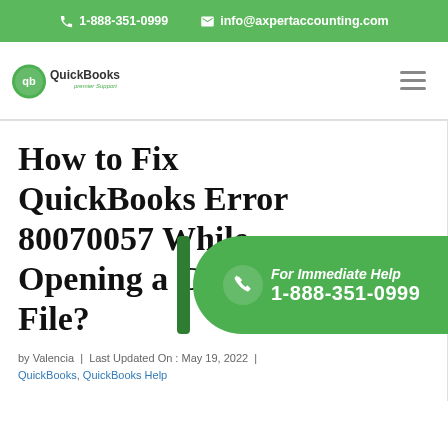1-888-351-0999   info@axpertaccounting.com
[Figure (logo): QuickBooks Premier Support logo with green circular QB icon and text]
How to Fix QuickBooks Error 80070057 While Opening a Company File?
[Figure (infographic): Green CTA banner: For Immediate Help 1-888-351-0999]
by Valencia | Last Updated On : May 19, 2022 | QuickBooks, QuickBooks Help